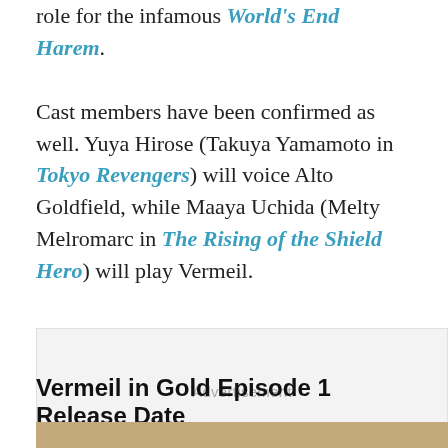role for the infamous World's End Harem. Cast members have been confirmed as well. Yuya Hirose (Takuya Yamamoto in Tokyo Revengers) will voice Alto Goldfield, while Maaya Uchida (Melty Melromarc in The Rising of the Shield Hero) will play Vermeil.
[Figure (other): Advertisement placeholder box with share button]
Vermeil in Gold Episode 1 Release Date
[Figure (photo): Partial photo at bottom of page, yellowish/brown tones]